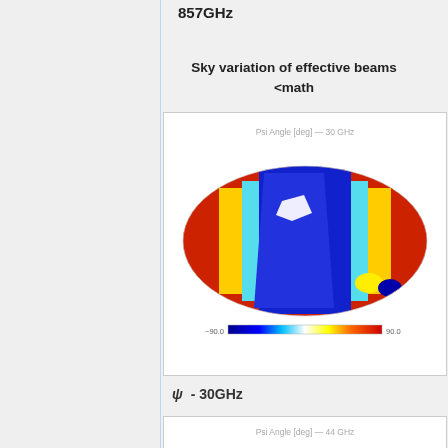857GHz
Sky variation of effective beams <math
[Figure (continuous-plot): Mollweide projection sky map showing Psi Angle [deg] at 30 GHz. The map shows angular variation across the sky with a color scale from -90.0 (blue) to 90.0 (red), with intermediate colors (yellow, cyan, white). The elliptical map shows complex angular patterns dominated by blue in the center-right and red on the left and right edges.]
ψ - 30GHz
[Figure (continuous-plot): Partial view of Mollweide projection sky map showing Psi Angle [deg] at 44 GHz, cropped at bottom of page.]